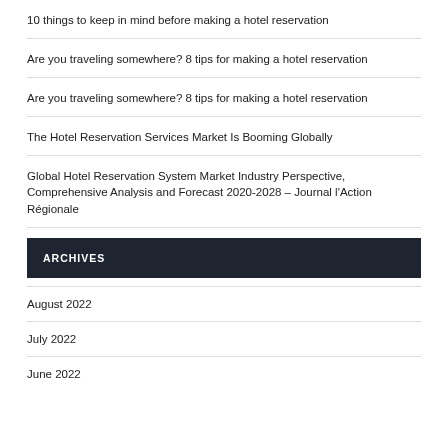10 things to keep in mind before making a hotel reservation
Are you traveling somewhere? 8 tips for making a hotel reservation
Are you traveling somewhere? 8 tips for making a hotel reservation
The Hotel Reservation Services Market Is Booming Globally
Global Hotel Reservation System Market Industry Perspective, Comprehensive Analysis and Forecast 2020-2028 – Journal l'Action Régionale
ARCHIVES
August 2022
July 2022
June 2022